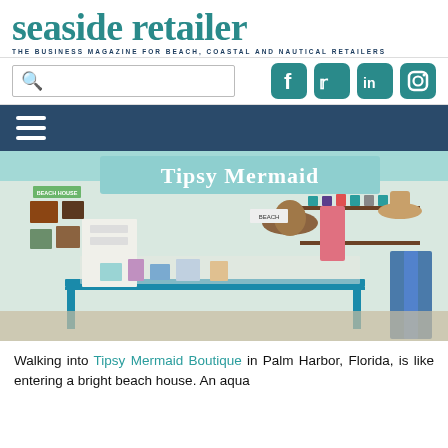seaside retailer
THE BUSINESS MAGAZINE FOR BEACH, COASTAL AND NAUTICAL RETAILERS
[Figure (screenshot): Search bar and social media icons (Facebook, Twitter, LinkedIn, Instagram) in teal color]
[Figure (screenshot): Dark navy blue navigation bar with hamburger menu icon (three white horizontal lines)]
[Figure (photo): Interior of Tipsy Mermaid Boutique store showing merchandise displays, teal and white decor, shelves with products, a blue table with items, wall art, hats, and accessories. The store sign 'Tipsy Mermaid' is visible on the back wall in white letters on an aqua/teal background.]
Walking into Tipsy Mermaid Boutique in Palm Harbor, Florida, is like entering a bright beach house. An aqua